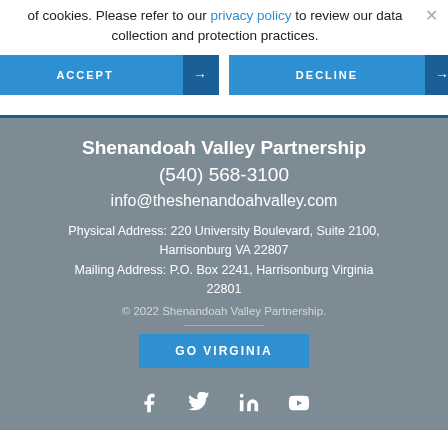of cookies. Please refer to our privacy policy to review our data collection and protection practices.
[Figure (other): ACCEPT and DECLINE buttons with arrow icons]
Shenandoah Valley Partnership
(540) 568-3100
info@theshenandoahvalley.com
Physical Address: 220 University Boulevard, Suite 2100, Harrisonburg VA 22807
Mailing Address: P.O. Box 2241, Harrisonburg Virginia 22801
© 2022 Shenandoah Valley Partnership.
[Figure (other): GO VIRGINIA button]
[Figure (other): Social media icons: Facebook, Twitter, LinkedIn, YouTube]